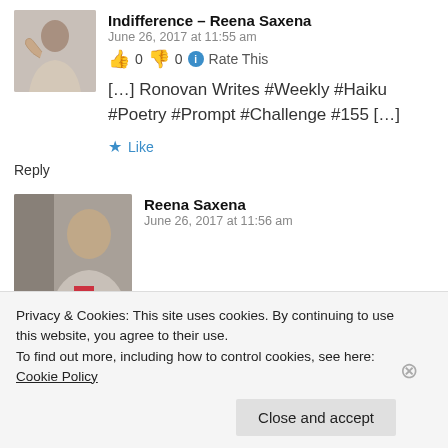Indifference – Reena Saxena
June 26, 2017 at 11:55 am
👍 0 👎 0 ℹ Rate This
[…] Ronovan Writes #Weekly #Haiku #Poetry #Prompt #Challenge #155 […]
Like
Reply
Reena Saxena
June 26, 2017 at 11:56 am
Privacy & Cookies: This site uses cookies. By continuing to use this website, you agree to their use.
To find out more, including how to control cookies, see here: Cookie Policy
Close and accept